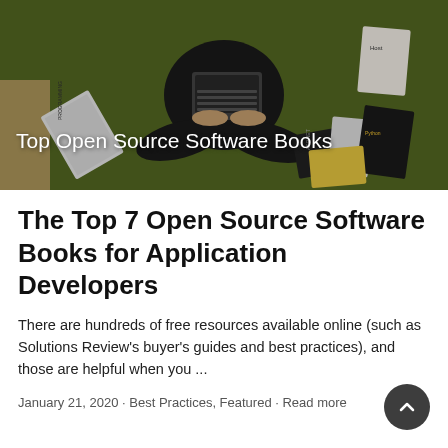[Figure (photo): Overhead photo of a person sitting cross-legged on a green carpet, working on a laptop, surrounded by various programming and technology books. Overlaid white text reads 'Top Open Source Software Books'.]
The Top 7 Open Source Software Books for Application Developers
There are hundreds of free resources available online (such as Solutions Review's buyer's guides and best practices), and those are helpful when you ...
January 21, 2020 · Best Practices, Featured · Read more